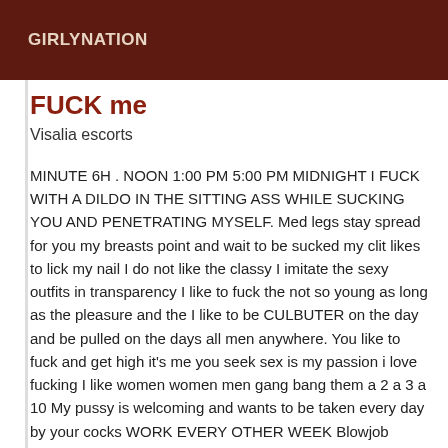GIRLYNATION
FUCK me
Visalia escorts
MINUTE 6H . NOON 1:00 PM 5:00 PM MIDNIGHT I FUCK WITH A DILDO IN THE SITTING ASS WHILE SUCKING YOU AND PENETRATING MYSELF. Med legs stay spread for you my breasts point and wait to be sucked my clit likes to lick my nail I do not like the classy I imitate the sexy outfits in transparency I like to fuck the not so young as long as the pleasure and the I like to be CULBUTER on the day and be pulled on the days all men anywhere. You like to fuck and get high it's me you seek sex is my passion i love fucking I like women women men gang bang them a 2 a 3 a 10 My pussy is welcoming and wants to be taken every day by your cocks WORK EVERY OTHER WEEK Blowjob cunni 69 position kama ejac facial bucxale photo video porn .... Come spend a moment of high and pleasure with me